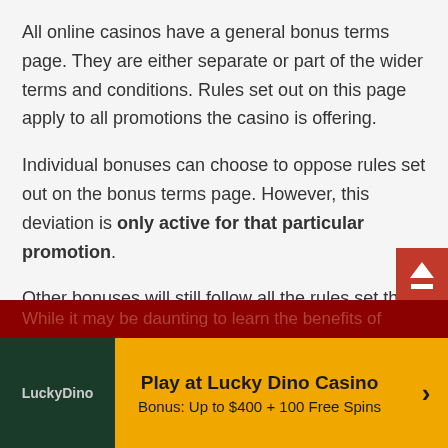All online casinos have a general bonus terms page. They are either separate or part of the wider terms and conditions. Rules set out on this page apply to all promotions the casino is offering.
Individual bonuses can choose to oppose rules set out on the bonus terms page. However, this deviation is only active for that particular promotion.
Other bonuses will still follow all the rules set there unless otherwise specified. Because of this, casino members who read the bonus terms and conditions know what to expect going forward.
[Figure (other): Lucky Dino Casino CTA banner with logo, gold background, Play at Lucky Dino Casino text, Bonus Up to $400 + 100 Free Spins, and right arrow]